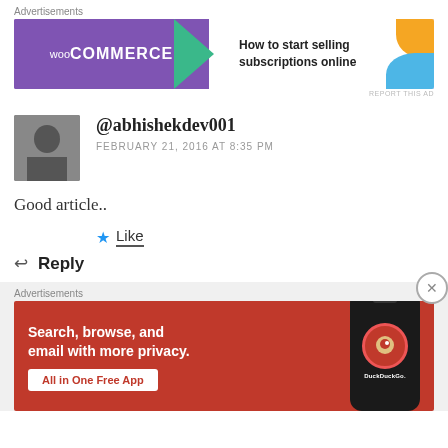Advertisements
[Figure (illustration): WooCommerce ad banner: purple background with WooCommerce logo on left, teal arrow, white right side with text 'How to start selling subscriptions online', orange and blue decorative shapes]
REPORT THIS AD
@abhishekdev001
FEBRUARY 21, 2016 AT 8:35 PM
Good article..
★ Like
↩ Reply
Advertisements
[Figure (illustration): DuckDuckGo ad banner: red/orange background with white text 'Search, browse, and email with more privacy. All in One Free App', and a smartphone showing DuckDuckGo app on right side]